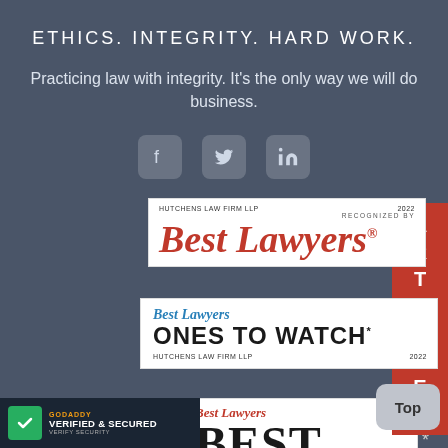ETHICS. INTEGRITY. HARD WORK.
Practicing law with integrity. It's the only way we will do business.
[Figure (illustration): Social media icons: Facebook, Twitter, LinkedIn in rounded square buttons]
[Figure (other): Best Lawyers 2022 recognized badge for Hutchens Law Firm LLP]
[Figure (other): Best Lawyers Ones to Watch 2022 badge for Hutchens Law Firm LLP]
[Figure (other): Best Lawyers Best Law Firms badge (partially visible)]
[Figure (other): GoDaddy Verified & Secured badge in bottom left corner]
ARTICLES (vertical tab on right side)
Top